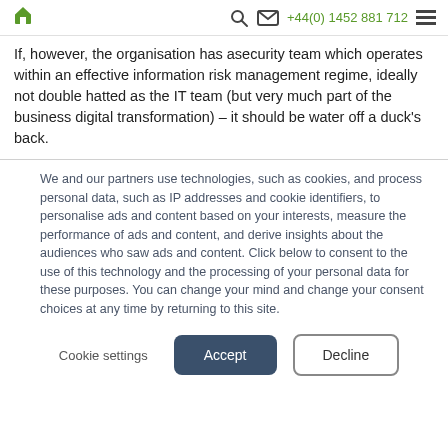🏠  🔍  ✉  +44(0) 1452 881 712  ☰
If, however, the organisation has asecurity team which operates within an effective information risk management regime, ideally not double hatted as the IT team (but very much part of the business digital transformation) – it should be water off a duck's back.
We and our partners use technologies, such as cookies, and process personal data, such as IP addresses and cookie identifiers, to personalise ads and content based on your interests, measure the performance of ads and content, and derive insights about the audiences who saw ads and content. Click below to consent to the use of this technology and the processing of your personal data for these purposes. You can change your mind and change your consent choices at any time by returning to this site.
Cookie settings  Accept  Decline